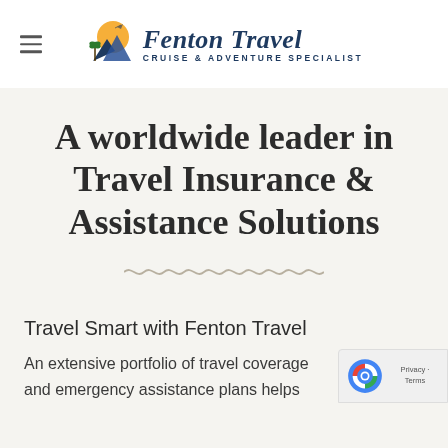[Figure (logo): Fenton Travel logo with cruise ship, mountains and palm tree graphic, with text 'Fenton Travel - Cruise & Adventure Specialist']
A worldwide leader in Travel Insurance & Assistance Solutions
[Figure (illustration): Decorative wavy/zigzag divider line in grey]
Travel Smart with Fenton Travel
An extensive portfolio of travel coverage and emergency assistance plans helps